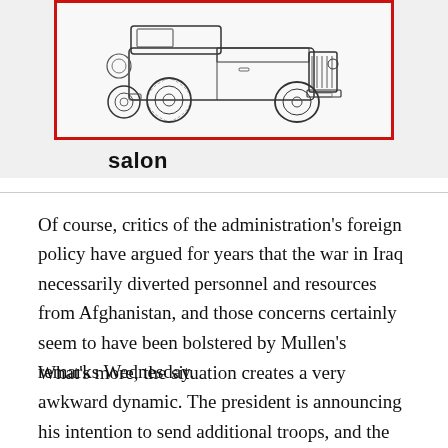[Figure (illustration): Line drawing illustration of a military-style jeep/truck vehicle inside a red-bordered box, on a light gray background, with the word 'salon' below in bold]
Of course, critics of the administration's foreign policy have argued for years that the war in Iraq necessarily diverted personnel and resources from Afghanistan, and those concerns certainly seem to have been bolstered by Mullen's remarks Wednesday.
What's more, the situation creates a very awkward dynamic. The president is announcing his intention to send additional troops, and the chairman of the Joint